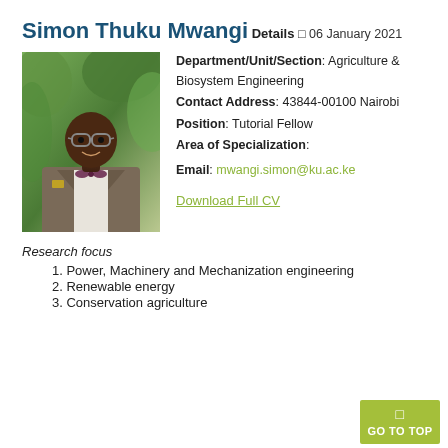Simon Thuku Mwangi
Details
□ 06 January 2021
[Figure (photo): Portrait photo of Simon Thuku Mwangi, a man wearing glasses and a grey suit with bow tie, standing outdoors in front of green foliage.]
Department/Unit/Section: Agriculture & Biosystem Engineering
Contact Address: 43844-00100 Nairobi
Position: Tutorial Fellow
Area of Specialization:
Email: mwangi.simon@ku.ac.ke
Download Full CV
Research focus
1. Power, Machinery and Mechanization engineering
2. Renewable energy
3. Conservation agriculture